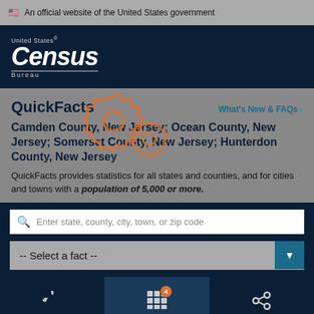An official website of the United States government
[Figure (logo): United States Census Bureau logo in white on dark navy background]
QuickFacts
Camden County, New Jersey; Ocean County, New Jersey; Somerset County, New Jersey; Hunterdon County, New Jersey
QuickFacts provides statistics for all states and counties, and for cities and towns with a population of 5,000 or more.
Enter state, county, city, town, or zip code
-- Select a fact --
[Figure (screenshot): Bottom navigation bar with CLEAR, TABLE (with badge 4), and MORE buttons]